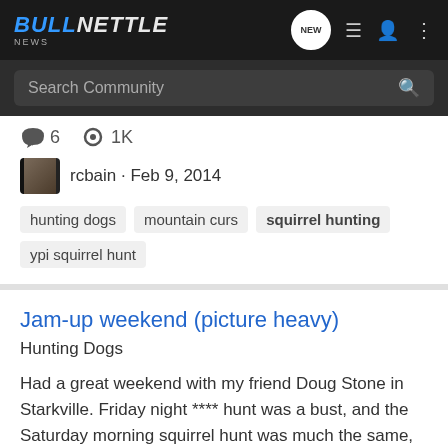BullNettle NEWS
Search Community
6  1K
rcbain · Feb 9, 2014
hunting dogs
mountain curs
squirrel hunting
ypi squirrel hunt
Jam-up weekend (picture heavy)
Hunting Dogs
Had a great weekend with my friend Doug Stone in Starkville. Friday night **** hunt was a bust, and the Saturday morning squirrel hunt was much the same, but as promised, we ate well! Eventually, the hunting improved and we finished out the weekend strong! Saturday lunch Saturday dinner...